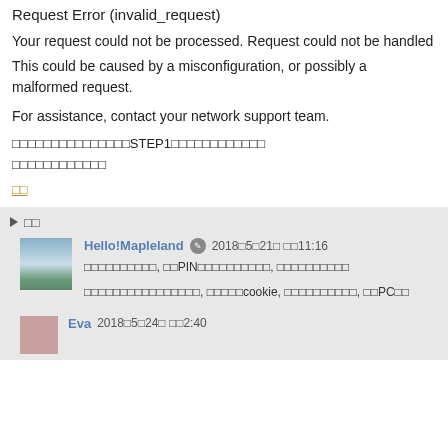Request Error (invalid_request)
Your request could not be processed. Request could not be handled
This could be caused by a misconfiguration, or possibly a malformed request.
For assistance, contact your network support team.
□□□□□□□□□□□□□□□STEP1□□□□□□□□□□□□□□□□□□□□□□□□□□□□□□
□□
□□
Hello!Mapleland ✎ 2018□5□21□ □□11:16
□□□□□□□□□□, □□PIN□□□□□□□□□□, □□□□□□□□□□
□□□□□□□□□□□□□□□□, □□□□□cookie, □□□□□□□□□□, □□PC□□
Eva 2018□5□24□ □□2:40